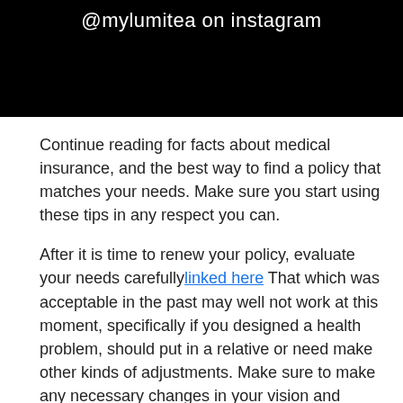[Figure (photo): Dark/black background image with white text '@mylumitea on instagram' overlay at the top]
Continue reading for facts about medical insurance, and the best way to find a policy that matches your needs. Make sure you start using these tips in any respect you can.
After it is time to renew your policy, evaluate your needs carefully linked here That which was acceptable in the past may well not work at this moment, specifically if you designed a health problem, should put in a relative or need make other kinds of adjustments. Make sure to make any necessary changes in your vision and dental plans during open enrollment as well.
To save the most money possible on health insurance